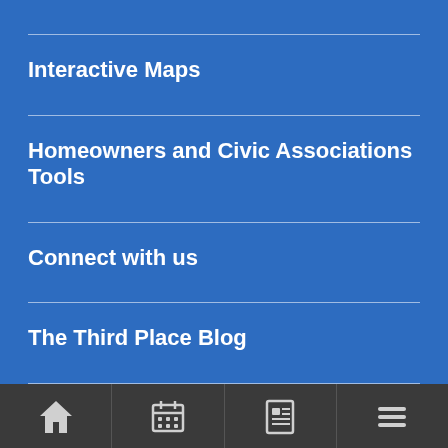Interactive Maps
Homeowners and Civic Associations Tools
Connect with us
The Third Place Blog
[Figure (screenshot): Mobile app bottom navigation bar with four icon tabs: home, calendar, news/document, and hamburger menu icons on a dark grey background.]